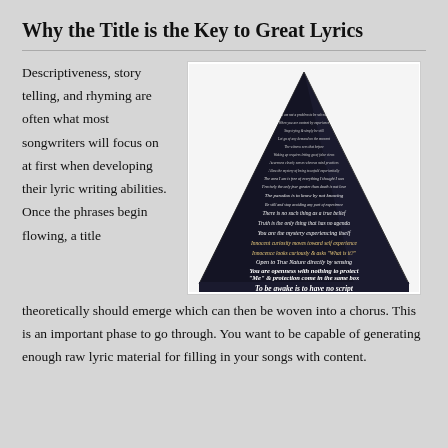Why the Title is the Key to Great Lyrics
Descriptiveness, story telling, and rhyming are often what most songwriters will focus on at first when developing their lyric writing abilities. Once the phrases begin flowing, a title
[Figure (illustration): A dark triangular/pyramid shape filled with white italic text phrases about truth, self, and awakening, arranged in a pyramid formation. The bottom line reads 'To be awake is to have no script'.]
theoretically should emerge which can then be woven into a chorus. This is an important phase to go through. You want to be capable of generating enough raw lyric material for filling in your songs with content.